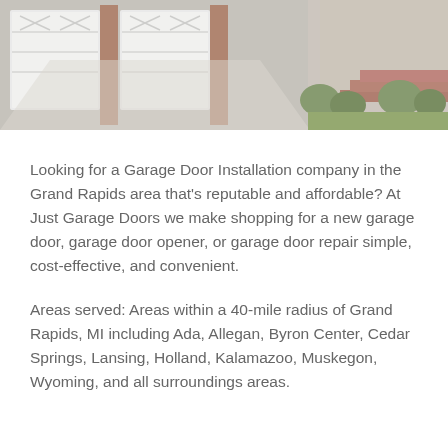[Figure (photo): Exterior photo of a house with white garage doors and brick steps, showing a driveway and green lawn]
Looking for a Garage Door Installation company in the Grand Rapids area that's reputable and affordable? At Just Garage Doors we make shopping for a new garage door, garage door opener, or garage door repair simple, cost-effective, and convenient.
Areas served: Areas within a 40-mile radius of Grand Rapids, MI including Ada, Allegan, Byron Center, Cedar Springs, Lansing, Holland, Kalamazoo, Muskegon, Wyoming, and all surroundings areas.